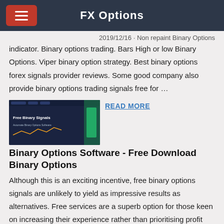FX Options
2019/12/16 · Non repaint Binary Options indicator. Binary options trading. Bars High or low Binary Options. Viper binary option strategy. Best binary options forex signals provider reviews. Some good company also provide binary options trading signals free for …
[Figure (screenshot): Screenshot of Free Binary Signals website with dark blue background and trading interface]
READ MORE
Binary Options Software - Free Download Binary Options
Although this is an exciting incentive, free binary options signals are unlikely to yield as impressive results as alternatives. Free services are a superb option for those keen on increasing their experience rather than prioritising profit and so can be used as a developmental tool. Signals Software
[Figure (screenshot): Dark screenshot thumbnail at bottom of page]
READ MORE